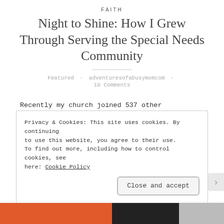FAITH
Night to Shine: How I Grew Through Serving the Special Needs Community
Featured · adventuresofabusymomcom · 10 Comments
Recently my church joined 537 other churches around the world to host Night to Shine. Night to Shine is an unforgettable
Privacy & Cookies: This site uses cookies. By continuing to use this website, you agree to their use.
To find out more, including how to control cookies, see here: Cookie Policy
Close and accept